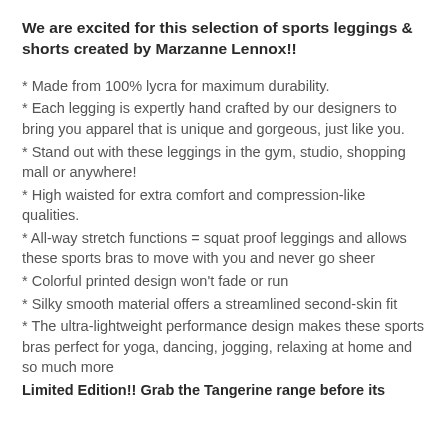We are excited for this selection of sports leggings & shorts created by Marzanne Lennox!!
* Made from 100% lycra for maximum durability.
* Each legging is expertly hand crafted by our designers to bring you apparel that is unique and gorgeous, just like you.
* Stand out with these leggings in the gym, studio, shopping mall or anywhere!
* High waisted for extra comfort and compression-like qualities.
* All-way stretch functions = squat proof leggings and allows these sports bras to move with you and never go sheer
* Colorful printed design won't fade or run
* Silky smooth material offers a streamlined second-skin fit
* The ultra-lightweight performance design makes these sports bras perfect for yoga, dancing, jogging, relaxing at home and so much more
Limited Edition!! Grab the Tangerine range before its